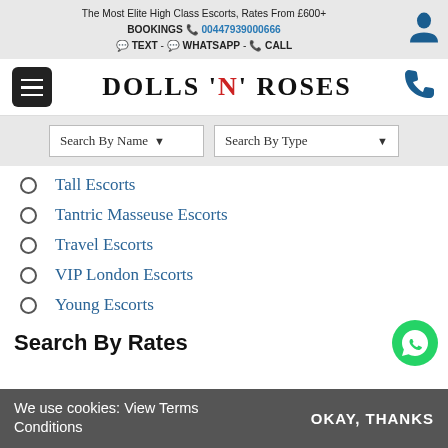The Most Elite High Class Escorts, Rates From £600+
BOOKINGS 00447939000666
TEXT - WHATSAPP - CALL
[Figure (logo): Dolls N Roses brand logo with hamburger menu and phone icon]
[Figure (screenshot): Search By Name dropdown and Search By Type dropdown]
Tall Escorts
Tantric Masseuse Escorts
Travel Escorts
VIP London Escorts
Young Escorts
Search By Rates
We use cookies: View Terms Conditions    OKAY, THANKS